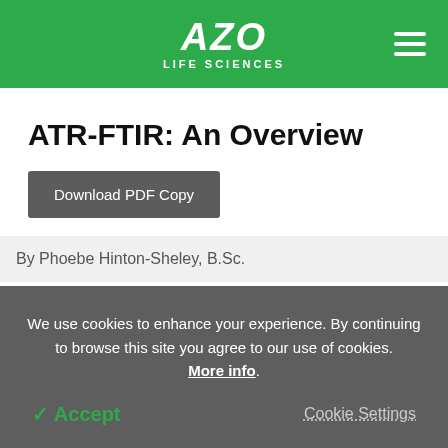AZO LIFE SCIENCES
ATR-FTIR: An Overview
Download PDF Copy
By Phoebe Hinton-Sheley, B.Sc.
We use cookies to enhance your experience. By continuing to browse this site you agree to our use of cookies. More info.
✓ Accept
Cookie Settings